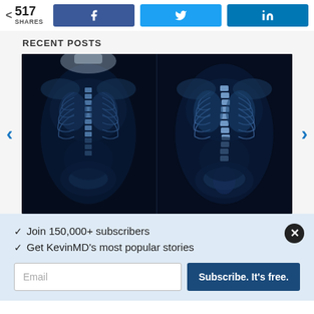< 517 SHARES
Facebook share button
Twitter share button
LinkedIn share button
RECENT POSTS
[Figure (photo): Two side-by-side X-ray images of a human torso showing skeletal structure including spine, ribcage, and pelvis against a dark background]
✓ Join 150,000+ subscribers
✓ Get KevinMD's most popular stories
Email | Subscribe. It's free.